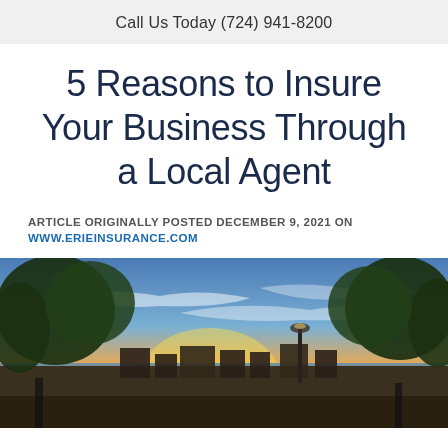Call Us Today (724) 941-8200
5 Reasons to Insure Your Business Through a Local Agent
ARTICLE ORIGINALLY POSTED DECEMBER 9, 2021 ON WWW.ERIEINSURANCE.COM
[Figure (photo): Sunset over a small town with trees in the foreground, a lamp post, lake or river in the background, orange and blue sky with wispy clouds.]